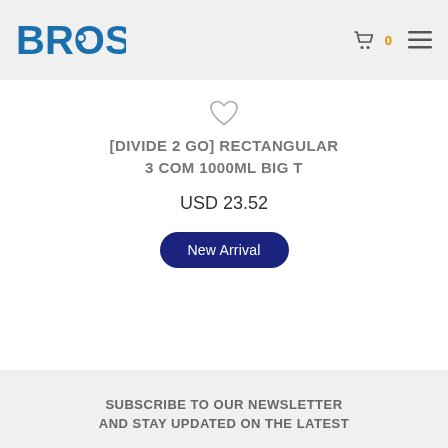BROS
[DIVIDE 2 GO] RECTANGULAR 3 COM 1000ML BIG T
USD 23.52
New Arrival
SUBSCRIBE TO OUR NEWSLETTER AND STAY UPDATED ON THE LATEST